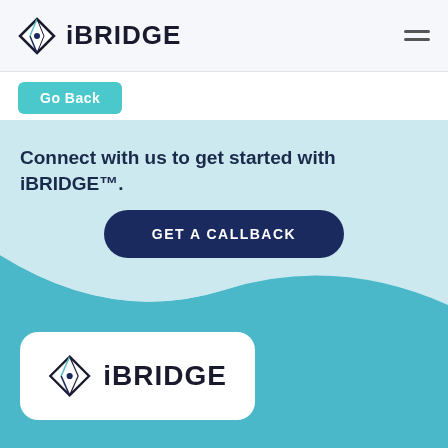iBRIDGE
Go Back
Connect with us to get started with iBRIDGE™.
GET A CALLBACK
[Figure (logo): iBRIDGE logo with diamond icon on white rounded card]